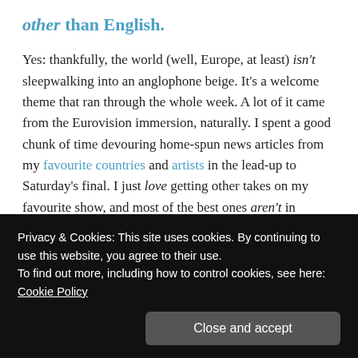other than English.
Yes: thankfully, the world (well, Europe, at least) isn't sleepwalking into an anglophone beige. It's a welcome theme that ran through the whole week. A lot of it came from the Eurovision immersion, naturally. I spent a good chunk of time devouring home-spun news articles from my favourite countries and artists in the lead-up to Saturday's final. I just love getting other takes on my favourite show, and most of the best ones aren't in English.
But the whole jamboree (very appropriately) also
Privacy & Cookies: This site uses cookies. By continuing to use this website, you agree to their use.
To find out more, including how to control cookies, see here: Cookie Policy
about how to de-anglify my life a little bit more.